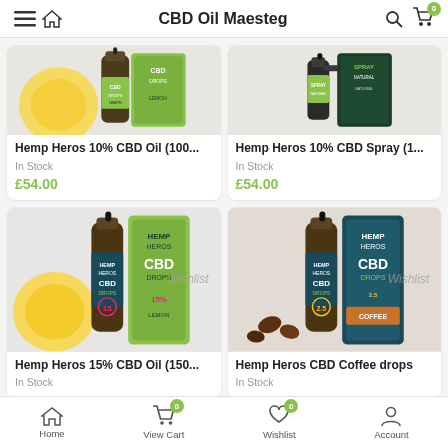CBD Oil Maesteg
[Figure (photo): Hemp Heros CBD Oil 10% Lemon drops product image]
Hemp Heros 10% CBD Oil (100...
In Stock
£54.00
[Figure (photo): Hemp Heros CBD Spray 10% Natural product image]
Hemp Heros 10% CBD Spray (1...
In Stock
£54.00
[Figure (photo): Hemp Heros 15% CBD Oil Lemon drops product image with Wishlist watermark]
Hemp Heros 15% CBD Oil (150...
In Stock
[Figure (photo): Hemp Heros CBD Coffee drops product image with Wishlist watermark]
Hemp Heros CBD Coffee drops
In Stock
Home  View Cart  Wishlist  Account